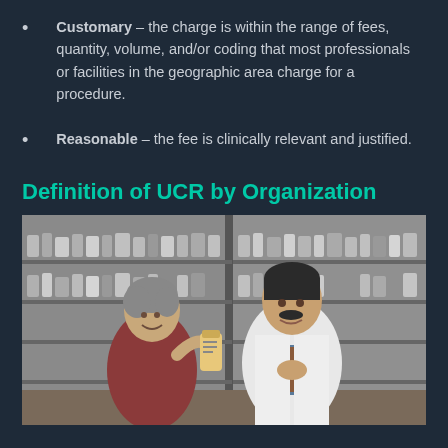Customary – the charge is within the range of fees, quantity, volume, and/or coding that most professionals or facilities in the geographic area charge for a procedure.
Reasonable – the fee is clinically relevant and justified.
Definition of UCR by Organization
[Figure (photo): A pharmacist in a white lab coat consulting with an elderly woman patient in a pharmacy, shelves of medication bottles visible in the background.]